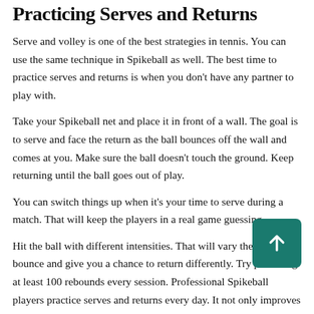Practicing Serves and Returns
Serve and volley is one of the best strategies in tennis. You can use the same technique in Spikeball as well. The best time to practice serves and returns is when you don't have any partner to play with.
Take your Spikeball net and place it in front of a wall. The goal is to serve and face the return as the ball bounces off the wall and comes at you. Make sure the ball doesn't touch the ground. Keep returning until the ball goes out of play.
You can switch things up when it's your time to serve during a match. That will keep the players in a real game guessing.
Hit the ball with different intensities. That will vary the ball's bounce and give you a chance to return differently. Try practicing at least 100 rebounds every session. Professional Spikeball players practice serves and returns every day. It not only improves your serving and returning skills but also gives you a chance to practice diving and recovering to your position.
Learning Touch and Placement